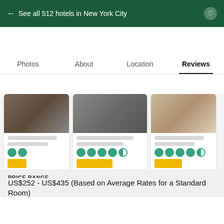← See all 512 hotels in New York City
Photos   About   Location   Reviews
[Figure (screenshot): Hotel listing cards carousel showing 3 hotel property cards with photos, rating circles (TripAdvisor-style), and price buttons]
See all properties
PRICE RANGE
US$252 - US$435 (Based on Average Rates for a Standard Room)
Booking.com   US$277
View deal
Special offer